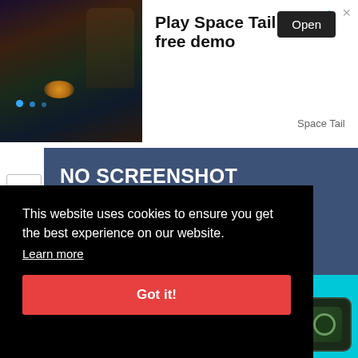[Figure (screenshot): Advertisement banner for 'Space Tail' game showing a dark fantasy game scene with glowing orange light and blue dots, alongside text 'Play Space Tail free demo' with an Open button and 'Space Tail' subtitle]
[Figure (screenshot): Blue banner area showing 'NO SCREENSHOT AVAILABLE' text on dark blue background, with a chevron/up arrow on the left side]
This website uses cookies to ensure you get the best experience on our website.
Learn more
Got it!
[Figure (screenshot): Partial view of a game icon with cyan/teal background and dark rounded square icon with stylized design, partially visible at bottom right]